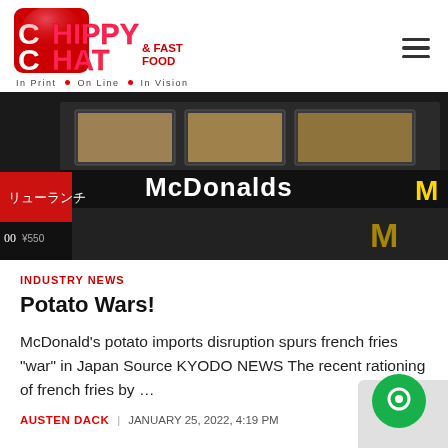Chippy Chat & Fast Food — In Print · On Line · In Vision
[Figure (photo): McDonald's restaurant exterior at night showing illuminated McDonalds sign, Japanese signage with lunch menu and ¥550 price visible in foreground]
INDUSTRY NEWS
Potato Wars!
McDonald's potato imports disruption spurs french fries "war" in Japan Source KYODO NEWS The recent rationing of french fries by …
AUSTEN DACK | JANUARY 25, 2022, 4:19 PM